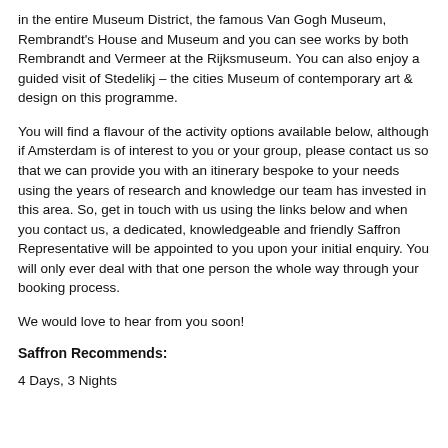in the entire Museum District, the famous Van Gogh Museum, Rembrandt's House and Museum and you can see works by both Rembrandt and Vermeer at the Rijksmuseum. You can also enjoy a guided visit of Stedelikj – the cities Museum of contemporary art & design on this programme.
You will find a flavour of the activity options available below, although if Amsterdam is of interest to you or your group, please contact us so that we can provide you with an itinerary bespoke to your needs using the years of research and knowledge our team has invested in this area. So, get in touch with us using the links below and when you contact us, a dedicated, knowledgeable and friendly Saffron Representative will be appointed to you upon your initial enquiry. You will only ever deal with that one person the whole way through your booking process.
We would love to hear from you soon!
Saffron Recommends:
4 Days, 3 Nights